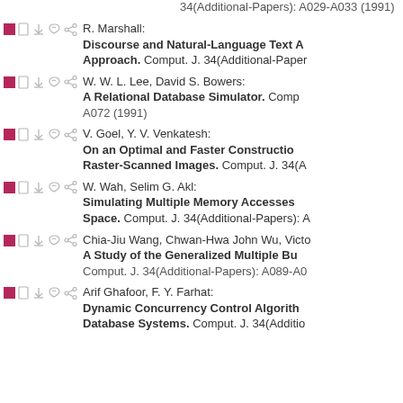34(Additional-Papers): A029-A033 (1991)
R. Marshall: Discourse and Natural-Language Text A Approach. Comput. J. 34(Additional-Papers):
W. W. L. Lee, David S. Bowers: A Relational Database Simulator. Comput. J. 34(Additional-Papers): A072 (1991)
V. Goel, Y. V. Venkatesh: On an Optimal and Faster Constructio Raster-Scanned Images. Comput. J. 34(A
W. Wah, Selim G. Akl: Simulating Multiple Memory Accesses Space. Comput. J. 34(Additional-Papers): A
Chia-Jiu Wang, Chwan-Hwa John Wu, Victo A Study of the Generalized Multiple Bu Comput. J. 34(Additional-Papers): A089-A0
Arif Ghafoor, F. Y. Farhat: Dynamic Concurrency Control Algorith Database Systems. Comput. J. 34(Additio